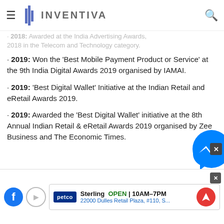INVENTIVA
2019: Won the 'Best Mobile Payment Product or Service' at the 9th India Digital Awards 2019 organised by IAMAI.
2019: 'Best Digital Wallet' Initiative at the Indian Retail and eRetail Awards 2019.
2019: Awarded the 'Best Digital Wallet' initiative at the 8th Annual Indian Retail & eRetail Awards 2019 organised by Zee Business and The Economic Times.
[Figure (screenshot): Ad banner for Petco Sterling store showing OPEN 10AM-7PM and address 22000 Dulles Retail Plaza, #110, S...]